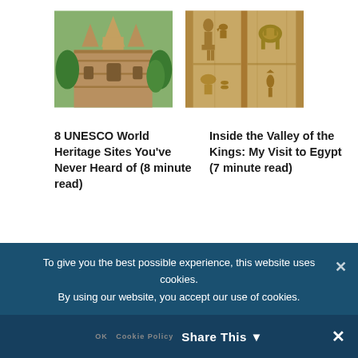[Figure (photo): Thai temple ruins - ornate stone pagoda structure with trees]
8 UNESCO World Heritage Sites You've Never Heard of (8 minute read)
[Figure (photo): Egyptian hieroglyphics carved in stone - Valley of the Kings]
Inside the Valley of the Kings: My Visit to Egypt (7 minute read)
PREVIOUS ARTICLE
Step back in time in medieval Fes
NEXT ARTICLE
Off the beaten path in India's Shekhawati region
POSTED IN Our Adventures
To give you the best possible experience, this website uses cookies. By using our website, you accept our use of cookies.
OK   Cookie Policy
Share This